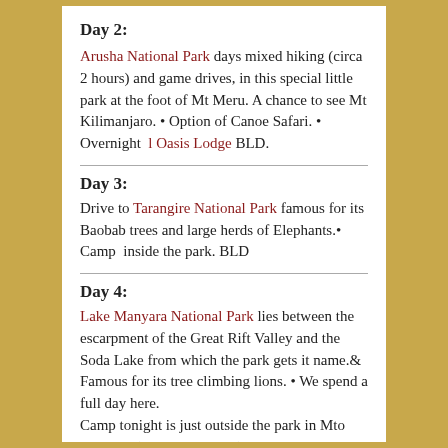Day 2:
Arusha National Park days mixed hiking (circa 2 hours) and game drives, in this special little park at the foot of Mt Meru. A chance to see Mt Kilimanjaro. • Option of Canoe Safari. • Overnight  l Oasis Lodge BLD.
Day 3:
Drive to Tarangire National Park famous for its Baobab trees and large herds of Elephants.• Camp  inside the park. BLD
Day 4:
Lake Manyara National Park lies between the escarpment of the Great Rift Valley and the Soda Lake from which the park gets it name.& Famous for its tree climbing lions. • We spend a full day here. Camp tonight is just outside the park in Mto Wa Mbu (Mosquito Creek). BLD